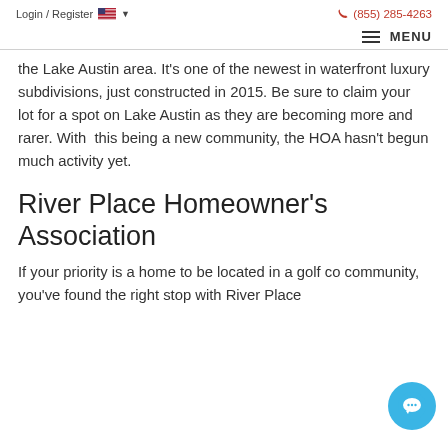Login / Register  🇺🇸 ▾  (855) 285-4263
≡ MENU
the Lake Austin area. It's one of the newest in waterfront luxury subdivisions, just constructed in 2015. Be sure to claim your lot for a spot on Lake Austin as they are becoming more and rarer. With this being a new community, the HOA hasn't begun much activity yet.
River Place Homeowner's Association
If your priority is a home to be located in a golf co community, you've found the right stop with River Place